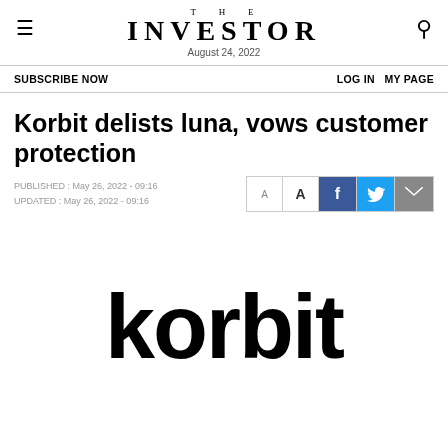THE INVESTOR — August 24, 2022
SUBSCRIBE NOW   LOG IN   MY PAGE
Korbit delists luna, vows customer protection
PUBLISHED : May 26, 2022 - 09:16
UPDATED : May 26, 2022 - 09:16
[Figure (logo): Korbit company logo in large black bold text on white background]